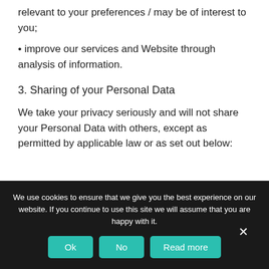relevant to your preferences / may be of interest to you;
improve our services and Website through analysis of information.
3. Sharing of your Personal Data
We take your privacy seriously and will not share your Personal Data with others, except as permitted by applicable law or as set out below:
We use cookies to ensure that we give you the best experience on our website. If you continue to use this site we will assume that you are happy with it.